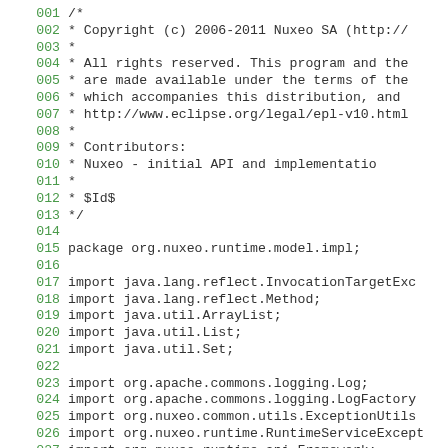Source code listing lines 001-027, Java file with copyright header and import statements for org.nuxeo.runtime.model.impl package